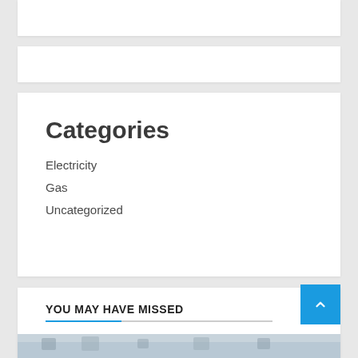Categories
Electricity
Gas
Uncategorized
YOU MAY HAVE MISSED
[Figure (photo): Outdoor winter landscape photo showing bare trees against a pale sky]